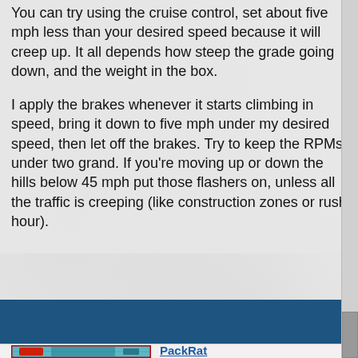You can try using the cruise control, set about five mph less than your desired speed because it will creep up. It all depends how steep the grade going down, and the weight in the box.
I apply the brakes whenever it starts climbing in speed, bring it down to five mph under my desired speed, then let off the brakes. Try to keep the RPMs under two grand. If you're moving up or down the hills below 45 mph put those flashers on, unless all the traffic is creeping (like construction zones or rush hour).
[Figure (photo): Thumbnail photo of a truck with a teal/cyan colored engine visible, parked outdoors.]
PackRat
Moderator